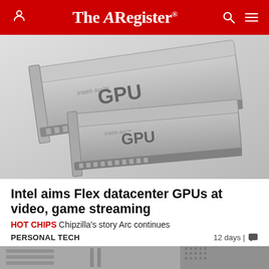The Register
[Figure (photo): Two silver Intel GPU cards (labeled 'GPU') side by side on a light gray background, showing PCIe connector edges and metal heatsink covers.]
Intel aims Flex datacenter GPUs at video, game streaming
HOT CHIPS Chipzilla's story Arc continues
PERSONAL TECH
12 days |
[Figure (photo): Partial view of server/data center equipment in grayscale, showing racks and hardware.]